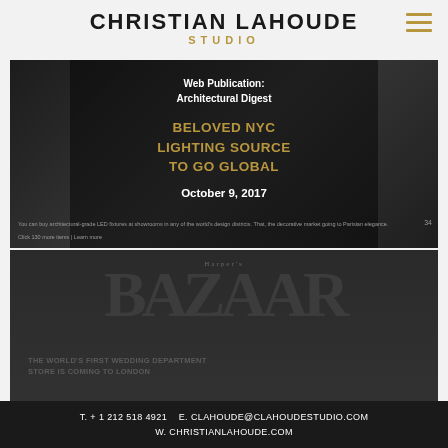CHRISTIAN LAHOUDE STUDIO
[Figure (screenshot): Dark card showing Architectural Digest web publication with text: Web Publication: Architectural Digest, BELOVED NYC LIGHTING SOURCE TO GO GLOBAL, October 9, 2017]
You can buy architectural-grade LED fixtures at showrooms in any of the world's design districts. That, the decorative market going to Parisian elegance.
[Figure (screenshot): Dark card showing Harper's BAZAAR logo and text: THE WORLD'S FIRST WEDDING DEPARTMENT STORE IS COMING TO LONDON]
T. + 1 212 518 4921   E. CLAHOUDE@CLAHOUDESTUDIO.COM   W. CHRISTIANLAHOUDE.COM